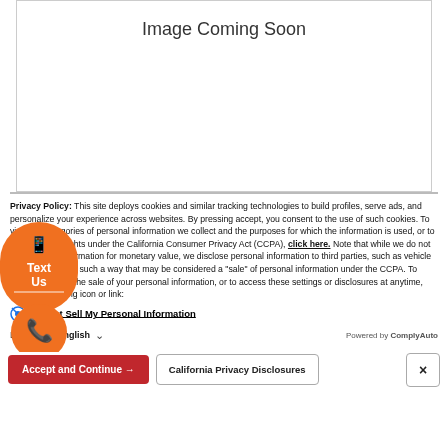[Figure (other): Image Coming Soon placeholder box with text centered at top]
Privacy Policy: This site deploys cookies and similar tracking technologies to build profiles, serve ads, and personalize your experience across websites. By pressing accept, you consent to the use of such cookies. To view the categories of personal information we collect and the purposes for which the information is used, or to exercise your rights under the California Consumer Privacy Act (CCPA), click here. Note that while we do not sell personal information for monetary value, we disclose personal information to third parties, such as vehicle manufacturers, in such a way that may be considered a "sale" of personal information under the CCPA. To direct us to stop the sale of your personal information, or to access these settings or disclosures at anytime, click the following icon or link:
Do Not Sell My Personal Information
Language: English   Powered by ComplyAuto
Accept and Continue →   California Privacy Disclosures   ×